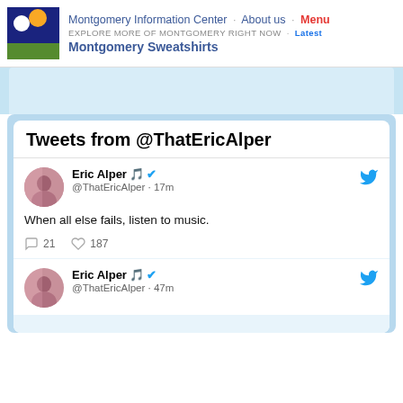Montgomery Information Center · About us · Menu
EXPLORE MORE OF MONTGOMERY RIGHT NOW · Latest
Montgomery Sweatshirts
[Figure (screenshot): Twitter/X embedded timeline widget showing tweets from @ThatEricAlper. Two tweets shown: first tweet says 'When all else fails, listen to music.' with 21 comments and 187 likes posted 17m ago. Second tweet header shows same account posted 47m ago.]
Tweets from @ThatEricAlper
Eric Alper 🎵 ✔
@ThatEricAlper · 17m
When all else fails, listen to music.
21  187
Eric Alper 🎵 ✔
@ThatEricAlper · 47m